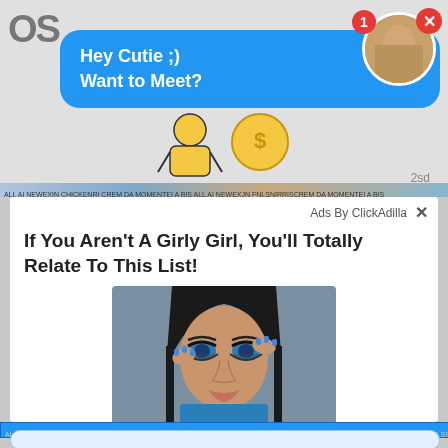OS
Hey Cutie ;)
Want to Meet?
[Figure (illustration): Cartoon person figure with coin/dollar symbol, wearing yellow top]
2sd
Ads By ClickAdilla
If You Aren't A Girly Girl, You'll Totally Relate To This List!
[Figure (photo): Close-up photo of a woman with dramatic makeup, blue nails, holding her hair back]
2it